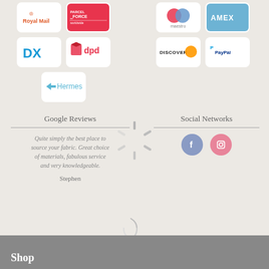[Figure (logo): Royal Mail shipping logo]
[Figure (logo): Parcel Force shipping logo]
[Figure (logo): Maestro payment logo]
[Figure (logo): AMEX payment logo]
[Figure (logo): DX shipping logo]
[Figure (logo): DPD shipping logo]
[Figure (logo): Discover payment logo]
[Figure (logo): PayPal payment logo]
[Figure (logo): Hermes shipping logo]
Google Reviews
Quite simply the best place to source your fabric. Great choice of materials, fabulous service and very knowledgeable.
Stephen
Social Networks
[Figure (illustration): Facebook and Instagram social media icon circles]
[Figure (illustration): Loading spinner overlay]
[Figure (illustration): Small loading spinner]
Shop